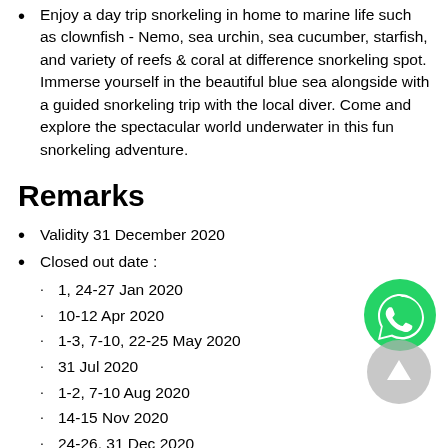Enjoy a day trip snorkeling in home to marine life such as clownfish - Nemo, sea urchin, sea cucumber, starfish, and variety of reefs & coral at difference snorkeling spot. Immerse yourself in the beautiful blue sea alongside with a guided snorkeling trip with the local diver. Come and explore the spectacular world underwater in this fun snorkeling adventure.
Remarks
Validity 31 December 2020
Closed out date :
• 1, 24-27 Jan 2020
• 10-12 Apr 2020
• 1-3, 7-10, 22-25 May 2020
• 31 Jul 2020
• 1-2, 7-10 Aug 2020
• 14-15 Nov 2020
• 24-26, 31 Dec 2020
Monsoon period :
• 15 Nov 2019 - 30 Mar 2020
For any inquiry or bookings on closed out date or mo...
[Figure (logo): WhatsApp icon - green circle with white phone handset]
[Figure (illustration): Gray scroll-up button circle with upward arrow]